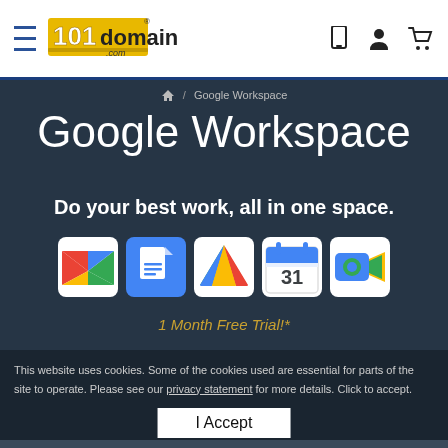101domain.com navigation bar with hamburger menu, logo, phone icon, account icon, cart icon
🏠 / Google Workspace
Google Workspace
Do your best work, all in one space.
[Figure (illustration): Five Google Workspace app icons: Gmail (M logo), Google Docs (document with lines), Google Drive (triangle), Google Calendar (31 date), Google Meet (video camera)]
1 Month Free Trial!*
This website uses cookies. Some of the cookies used are essential for parts of the site to operate. Please see our privacy statement for more details. Click to accept.
I Accept